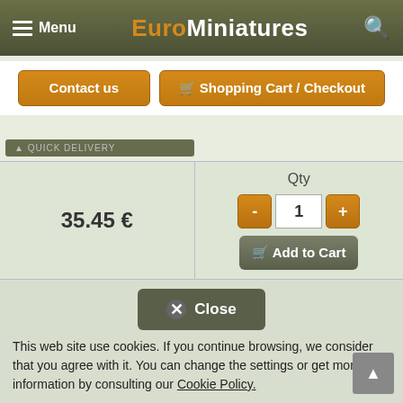Menu | EuroMiniatures | Search
Contact us
Shopping Cart / Checkout
QUICK DELIVERY
35.45 €
Qty 1 - +
Add to Cart
Ci0013 Green kitchen
Close
This web site use cookies. If you continue browsing, we consider that you agree with it. You can change the settings or get more information by consulting our Cookie Policy.